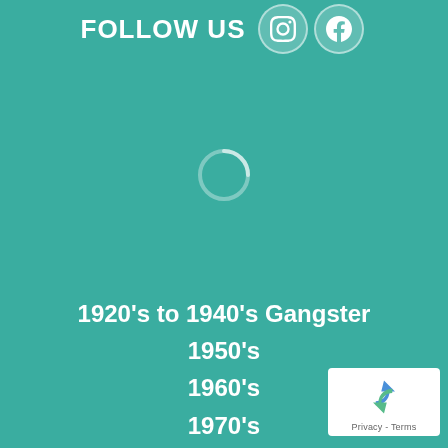FOLLOW US
[Figure (other): Loading spinner / circular loading indicator on teal background]
1920's to 1940's Gangster
1950's
1960's
1970's
1980's
1990's
[Figure (other): reCAPTCHA badge with logo and Privacy - Terms text]